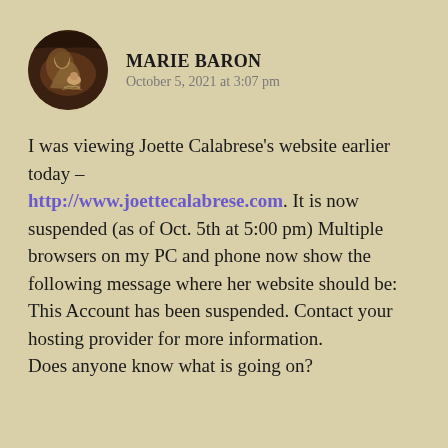[Figure (photo): Circular avatar image showing a religious nativity painting — Mary and the infant Jesus in dark, warm tones]
MARIE BARON
October 5, 2021 at 3:07 pm
I was viewing Joette Calabrese's website earlier today – http://www.joettecalabrese.com. It is now suspended (as of Oct. 5th at 5:00 pm) Multiple browsers on my PC and phone now show the following message where her website should be: This Account has been suspended. Contact your hosting provider for more information.
Does anyone know what is going on?